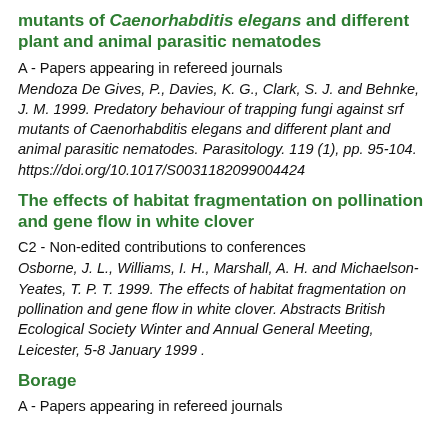mutants of Caenorhabditis elegans and different plant and animal parasitic nematodes
A - Papers appearing in refereed journals
Mendoza De Gives, P., Davies, K. G., Clark, S. J. and Behnke, J. M. 1999. Predatory behaviour of trapping fungi against srf mutants of Caenorhabditis elegans and different plant and animal parasitic nematodes. Parasitology. 119 (1), pp. 95-104. https://doi.org/10.1017/S0031182099004424
The effects of habitat fragmentation on pollination and gene flow in white clover
C2 - Non-edited contributions to conferences
Osborne, J. L., Williams, I. H., Marshall, A. H. and Michaelson-Yeates, T. P. T. 1999. The effects of habitat fragmentation on pollination and gene flow in white clover. Abstracts British Ecological Society Winter and Annual General Meeting, Leicester, 5-8 January 1999 .
Borage
A - Papers appearing in refereed journals